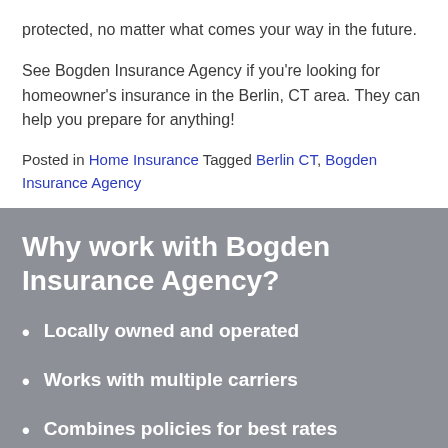protected, no matter what comes your way in the future.
See Bogden Insurance Agency if you're looking for homeowner's insurance in the Berlin, CT area. They can help you prepare for anything!
Posted in Home Insurance Tagged Berlin CT, Bogden Insurance Agency
Why work with Bogden Insurance Agency?
Locally owned and operated
Works with multiple carriers
Combines policies for best rates